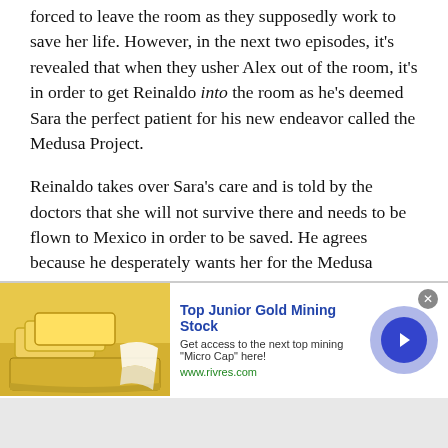forced to leave the room as they supposedly work to save her life. However, in the next two episodes, it's revealed that when they usher Alex out of the room, it's in order to get Reinaldo into the room as he's deemed Sara the perfect patient for his new endeavor called the Medusa Project.
Reinaldo takes over Sara's care and is told by the doctors that she will not survive there and needs to be flown to Mexico in order to be saved. He agrees because he desperately wants her for the Medusa Project. Yeah, Reinaldo is not a good man and we should also mention he is Nicandro's dad, which also explains a lot!
[Figure (other): Advertisement banner for Top Junior Gold Mining Stock from www.rivres.com, featuring gold bars image on left, ad text in center, and a blue circular arrow button on right.]